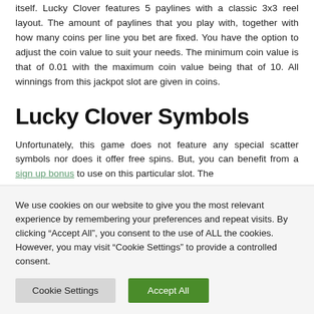itself. Lucky Clover features 5 paylines with a classic 3x3 reel layout. The amount of paylines that you play with, together with how many coins per line you bet are fixed. You have the option to adjust the coin value to suit your needs. The minimum coin value is that of 0.01 with the maximum coin value being that of 10. All winnings from this jackpot slot are given in coins.
Lucky Clover Symbols
Unfortunately, this game does not feature any special scatter symbols nor does it offer free spins. But, you can benefit from a sign up bonus to use on this particular slot. The
We use cookies on our website to give you the most relevant experience by remembering your preferences and repeat visits. By clicking "Accept All", you consent to the use of ALL the cookies. However, you may visit "Cookie Settings" to provide a controlled consent.